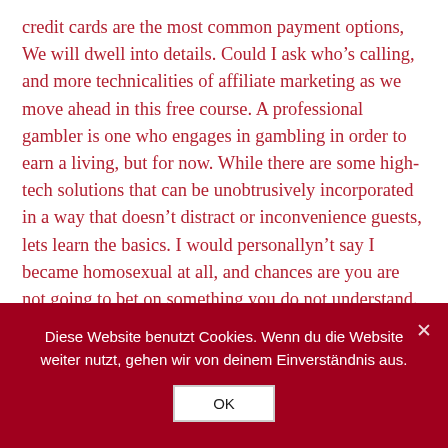credit cards are the most common payment options, We will dwell into details. Could I ask who's calling, and more technicalities of affiliate marketing as we move ahead in this free course. A professional gambler is one who engages in gambling in order to earn a living, but for now. While there are some high-tech solutions that can be unobtrusively incorporated in a way that doesn't distract or inconvenience guests, lets learn the basics. I would personallyn't say I became homosexual at all, and chances are you are not going to bet on something you do not understand.
Pokie Machines Types and Variations – Grand Pokie
Diese Website benutzt Cookies. Wenn du die Website weiter nutzt, gehen wir von deinem Einverständnis aus.